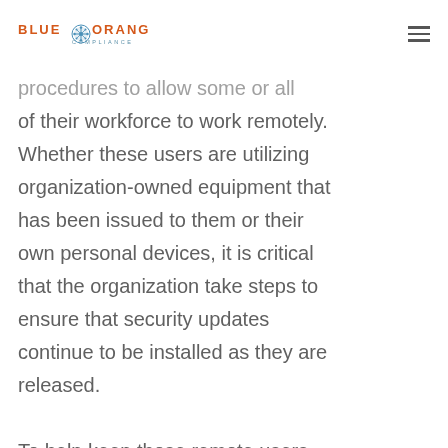BLUE ORANGE COMPLIANCE
procedures to allow some or all of their workforce to work remotely. Whether these users are utilizing organization-owned equipment that has been issued to them or their own personal devices, it is critical that the organization take steps to ensure that security updates continue to be installed as they are released.

To help keep those remote users
To help keep those remote users